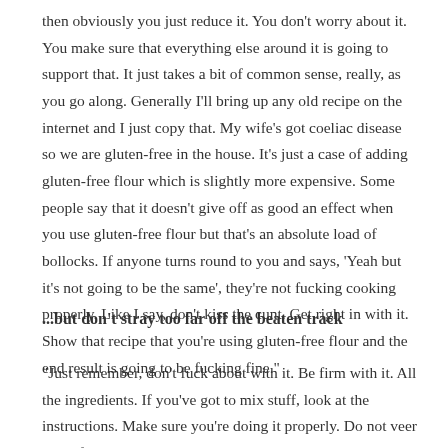then obviously you just reduce it. You don't worry about it. You make sure that everything else around it is going to support that. It just takes a bit of common sense, really, as you go along. Generally I'll bring up any old recipe on the internet and I just copy that. My wife's got coeliac disease so we are gluten-free in the house. It's just a case of adding gluten-free flour which is slightly more expensive. Some people say that it doesn't give off as good an effect when you use gluten-free flour but that's an absolute load of bollocks. If anyone turns round to you and says, 'Yeah but it's not going to be the same', they're not fucking cooking properly. Like I say, don't kiss the cunt. Get right in with it. Show that recipe that you're using gluten-free flour and the end result is going to be fucking fine."
...but don't stray too far off the beaten track
"Just remember, don't fuck about with it. Be firm with it. All the ingredients. If you've got to mix stuff, look at the instructions. Make sure you're doing it properly. Do not veer away from the